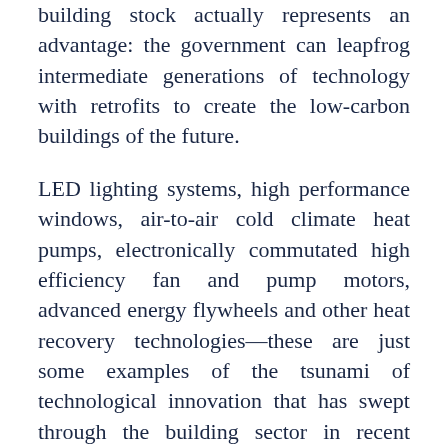building stock actually represents an advantage: the government can leapfrog intermediate generations of technology with retrofits to create the low-carbon buildings of the future.
LED lighting systems, high performance windows, air-to-air cold climate heat pumps, electronically commutated high efficiency fan and pump motors, advanced energy flywheels and other heat recovery technologies—these are just some examples of the tsunami of technological innovation that has swept through the building sector in recent years. When combined with deep cost reductions in sensors and digitized control technologies, the recapitalization of old buildings can create healthier, more productive space that no longer relies on antiquated fossil fuel combustion technologies.